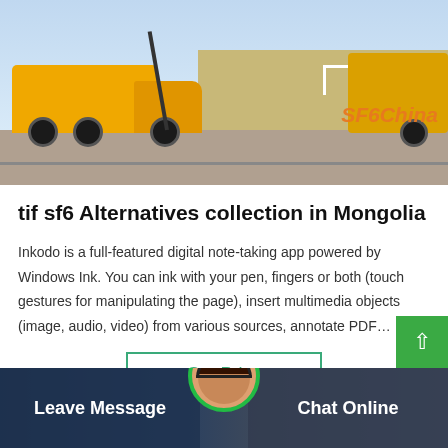[Figure (photo): Yellow trucks/utility vehicles on a paved road with background scenery. Watermark reads SF6China in orange.]
tif sf6 Alternatives collection in Mongolia
Inkodo is a full-featured digital note-taking app powered by Windows Ink. You can ink with your pen, fingers or both (touch gestures for manipulating the page), insert multimedia objects (image, audio, video) from various sources, annotate PDF…
Get Price
Leave Message   Chat Online